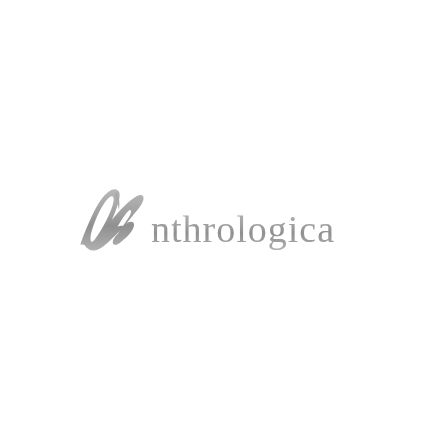[Figure (logo): Anthrologica brand logo in grey. A decorative calligraphic capital 'A' in script style followed by 'nthrologica' in serif typeface, all rendered in silver/grey color on white background.]